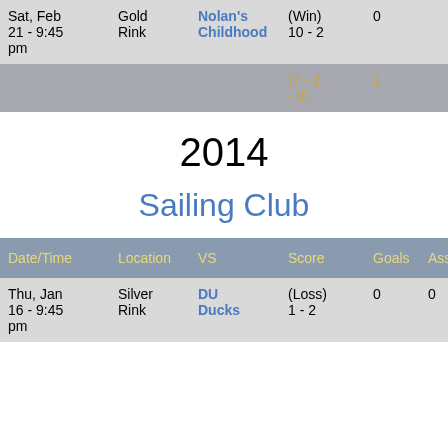| Date/Time | Location | VS | Score | Goals | Ass |
| --- | --- | --- | --- | --- | --- |
| Sat, Feb 21 - 9:45 pm | Gold Rink | Nolan's Childhood | (Win) 10 - 2 | 0 |  |
|  |  |  | (7 - 2 - 0) | 1 |  |
2014
Sailing Club
| Date/Time | Location | VS | Score | Goals | Ass |
| --- | --- | --- | --- | --- | --- |
| Thu, Jan 16 - 9:45 pm | Silver Rink | DU Ducks | (Loss) 1 - 2 | 0 | 0 |